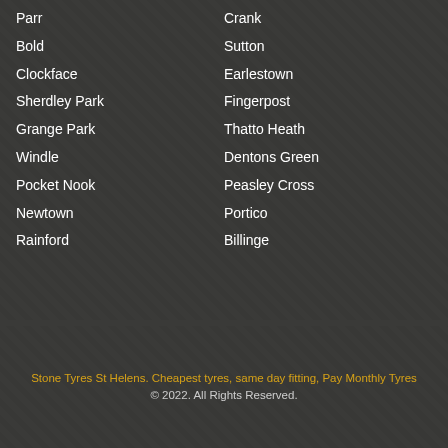Parr
Bold
Clockface
Sherdley Park
Grange Park
Windle
Pocket Nook
Newtown
Rainford
Crank
Sutton
Earlestown
Fingerpost
Thatto Heath
Dentons Green
Peasley Cross
Portico
Billinge
Stone Tyres St Helens. Cheapest tyres, same day fitting, Pay Monthly Tyres © 2022. All Rights Reserved.